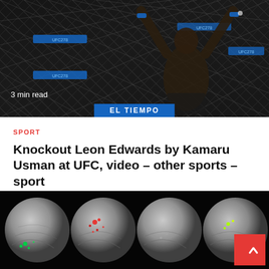[Figure (photo): UFC fighter with arms raised in victory inside an octagon cage, dark background with fence pattern visible. Text '3 min read' in bottom left. 'EL TIEMPO' blue badge at bottom center.]
3 min read
EL TIEMPO
SPORT
Knockout Leon Edwards by Kamaru Usman at UFC, video – other sports – sport
Madison Gordon  9 hours ago  👁 90
[Figure (photo): Four spherical images of what appears to be Mars or a planetary body, shown against a black background, each with different colored dot patterns overlaid (green, red, yellow dots). A red 'back to top' button with upward chevron is in the bottom right corner.]